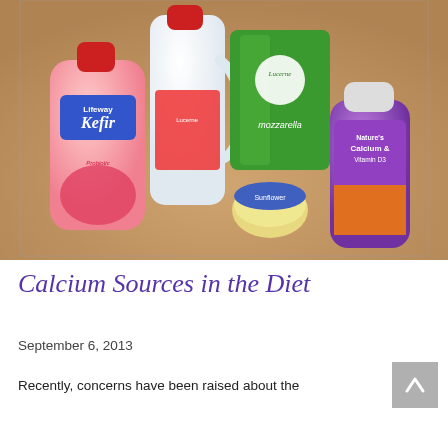[Figure (photo): Photo of calcium-rich food and supplement products on a countertop: Lifeway Lowfat Kefir bottle (pink, berry flavor), a white milk jug, a green Lucerne mozzarella cheese bag, a small round container, and a purple Nature's Life Calcium & Vitamin D3 supplement bottle.]
Calcium Sources in the Diet
September 6, 2013
Recently, concerns have been raised about the